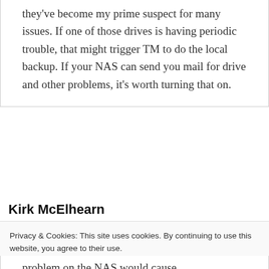they've become my prime suspect for many issues. If one of those drives is having periodic trouble, that might trigger TM to do the local backup. If your NAS can send you mail for drive and other problems, it's worth turning that on.
Kirk McElhearn
Privacy & Cookies: This site uses cookies. By continuing to use this website, you agree to their use.
To find out more, including how to control cookies, see here: Cookie Policy
Close and accept
problem on the NAS would cause